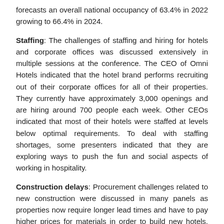forecasts an overall national occupancy of 63.4% in 2022 growing to 66.4% in 2024.
Staffing: The challenges of staffing and hiring for hotels and corporate offices was discussed extensively in multiple sessions at the conference. The CEO of Omni Hotels indicated that the hotel brand performs recruiting out of their corporate offices for all of their properties. They currently have approximately 3,000 openings and are hiring around 700 people each week. Other CEOs indicated that most of their hotels were staffed at levels below optimal requirements. To deal with staffing shortages, some presenters indicated that they are exploring ways to push the fun and social aspects of working in hospitality.
Construction delays: Procurement challenges related to new construction were discussed in many panels as properties now require longer lead times and have to pay higher prices for materials in order to build new hotels. Problems such as the lack of pieces for making windows and obtaining fabrics from China were mentioned as examples related to delaying scheduled opening dates or doing renovations for properties.
Hotel values: After a steep decline in hotel values in 2020 and a significant increase in 2021, hotel values are expected to show a